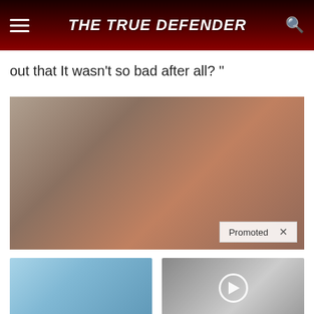THE TRUE DEFENDER
out that It wasn't so bad after all? "
[Figure (photo): Photo of a woman (Nancy Pelosi) speaking, wearing an orange jacket, with a dark background. A 'Promoted X' badge is visible in the lower right corner.]
[Figure (photo): Advertisement image showing stacked light blue wearable devices (Eddie ED treatment product)]
Treat ED With Eddie — The Proven, Comfortable Wearable That Comes With A Satisfaction Guarantee
160,934
[Figure (photo): Advertisement thumbnail showing two people (Melania and Donald Trump) with a video play button overlay]
Trump Wants This Video Shared A Million Times — Watch Now Before It's Banned!
37,624